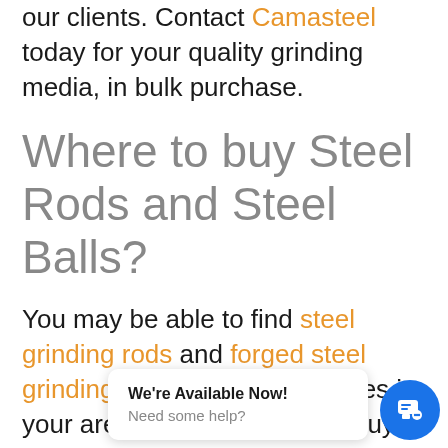our clients. Contact Camasteel today for your quality grinding media, in bulk purchase.
Where to buy Steel Rods and Steel Balls?
You may be able to find steel grinding rods and forged steel grinding balls in small quantities in your area. But if you want to buy large quantities steel ba[lls...]
[Figure (other): Chat widget overlay with blue circular icon showing chat bubbles, and a white speech bubble panel saying 'We're Available Now!' and 'Need some help?']